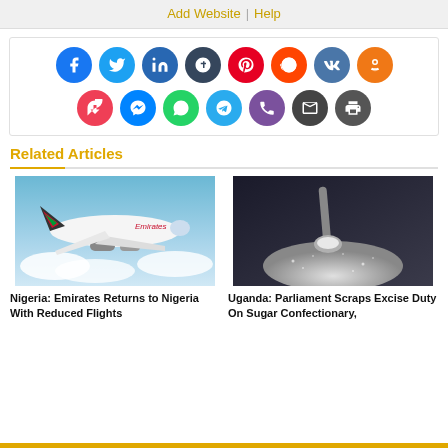Add Website | Help
[Figure (infographic): Social media sharing icons: Facebook, Twitter, LinkedIn, Tumblr, Pinterest, Reddit, VK, Odnoklassniki, Pocket, Messenger, WhatsApp, Telegram, Phone, Email, Print]
Related Articles
[Figure (photo): Emirates airplane flying above clouds]
Nigeria: Emirates Returns to Nigeria With Reduced Flights
[Figure (photo): Spoon with sugar and sugar granules on dark background]
Uganda: Parliament Scraps Excise Duty On Sugar Confectionary,